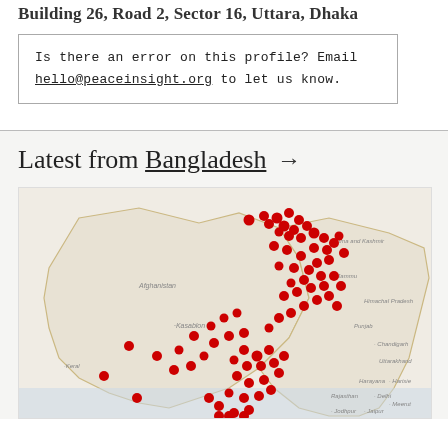Building 26, Road 2, Sector 16, Uttara, Dhaka
Is there an error on this profile? Email hello@peaceinsight.org to let us know.
Latest from Bangladesh →
[Figure (map): Map showing South Asia (Pakistan, India, Bangladesh region) with numerous red dot markers concentrated along a diagonal band from upper center-right down through Pakistan's eastern and central regions, representing peacebuilding organization locations.]